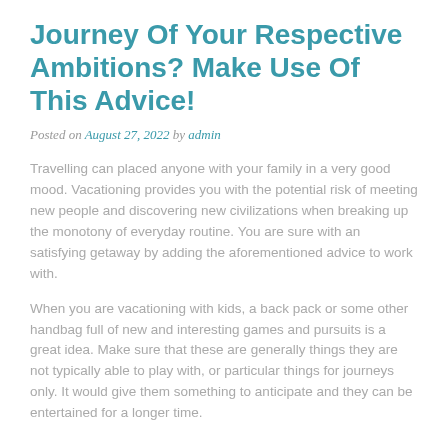Journey Of Your Respective Ambitions? Make Use Of This Advice!
Posted on August 27, 2022 by admin
Travelling can placed anyone with your family in a very good mood. Vacationing provides you with the potential risk of meeting new people and discovering new civilizations when breaking up the monotony of everyday routine. You are sure with an satisfying getaway by adding the aforementioned advice to work with.
When you are vacationing with kids, a back pack or some other handbag full of new and interesting games and pursuits is a great idea. Make sure that these are generally things they are not typically able to play with, or particular things for journeys only. It would give them something to anticipate and they can be entertained for a longer time.